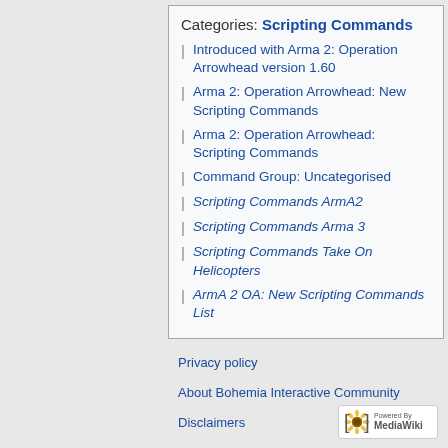Categories: Scripting Commands
Introduced with Arma 2: Operation Arrowhead version 1.60
Arma 2: Operation Arrowhead: New Scripting Commands
Arma 2: Operation Arrowhead: Scripting Commands
Command Group: Uncategorised
Scripting Commands ArmA2
Scripting Commands Arma 3
Scripting Commands Take On Helicopters
ArmA 2 OA: New Scripting Commands List
Privacy policy
About Bohemia Interactive Community
Disclaimers